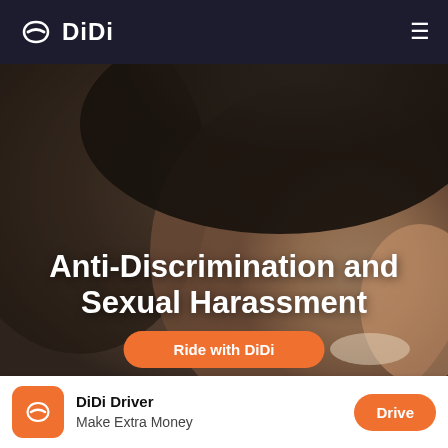DiDi
[Figure (photo): Close-up photo of a smiling person wearing a dark cap, used as hero background image for DiDi's Anti-Discrimination and Sexual Harassment page]
Anti-Discrimination and Sexual Harassment
Ride with DiDi
DiDi Driver
Make Extra Money
Drive